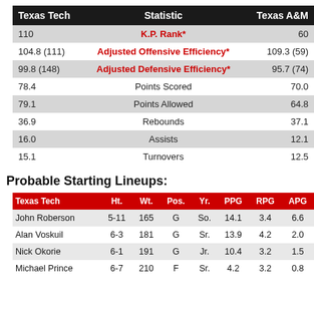| Texas Tech | Statistic | Texas A&M |
| --- | --- | --- |
| 110 | K.P. Rank* | 60 |
| 104.8 (111) | Adjusted Offensive Efficiency* | 109.3 (59) |
| 99.8 (148) | Adjusted Defensive Efficiency* | 95.7 (74) |
| 78.4 | Points Scored | 70.0 |
| 79.1 | Points Allowed | 64.8 |
| 36.9 | Rebounds | 37.1 |
| 16.0 | Assists | 12.1 |
| 15.1 | Turnovers | 12.5 |
Probable Starting Lineups:
| Texas Tech | Ht. | Wt. | Pos. | Yr. | PPG | RPG | APG |
| --- | --- | --- | --- | --- | --- | --- | --- |
| John Roberson | 5-11 | 165 | G | So. | 14.1 | 3.4 | 6.6 |
| Alan Voskuil | 6-3 | 181 | G | Sr. | 13.9 | 4.2 | 2.0 |
| Nick Okorie | 6-1 | 191 | G | Jr. | 10.4 | 3.2 | 1.5 |
| Michael Prince | 6-7 | 210 | F | Sr. | 4.2 | 3.2 | 0.8 |